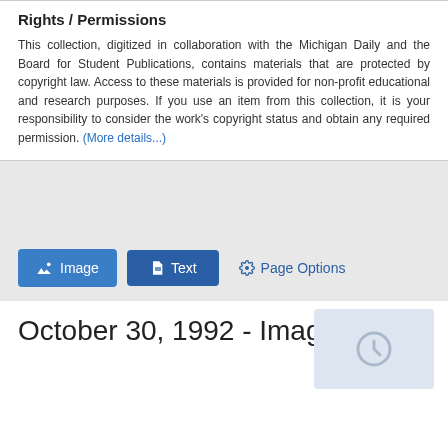Rights / Permissions
This collection, digitized in collaboration with the Michigan Daily and the Board for Student Publications, contains materials that are protected by copyright law. Access to these materials is provided for non-profit educational and research purposes. If you use an item from this collection, it is your responsibility to consider the work's copyright status and obtain any required permission. (More details...)
[Figure (screenshot): Toolbar with Image, Text, and Page Options buttons on a gray background]
October 30, 1992 - Image 15